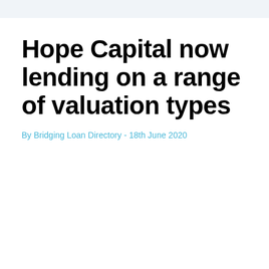Hope Capital now lending on a range of valuation types
By Bridging Loan Directory - 18th June 2020